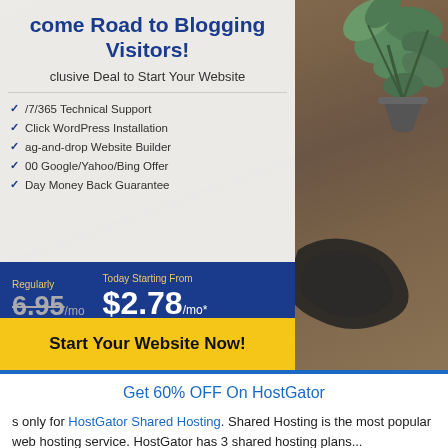[Figure (screenshot): HostGator web hosting advertisement banner with dark wooden desk background, green plant top right, a dark object bottom right, and an overlay card with white/grey background showing hosting deal details.]
Welcome Road to Blogging Visitors!
Exclusive Deal to Start Your Website
24/7/365 Technical Support
1-Click WordPress Installation
Drag-and-drop Website Builder
$100 Google/Yahoo/Bing Offer
45 Day Money Back Guarantee
Regularly $6.95/mo   Today Starting From $2.78/mo*
Start Your Website Now!
Get 60% OFF On HostGator
s only for HostGator Shared Hosting. Shared Hosting is the most popular web hosting service. HostGator has 3 shared hosting plans...